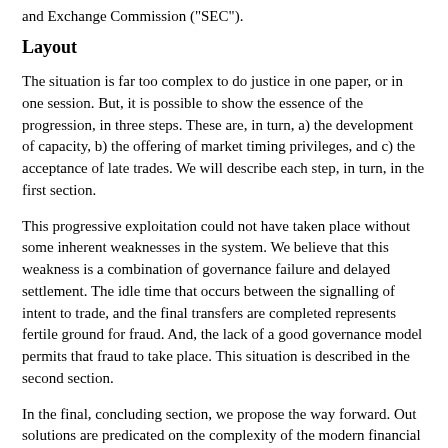and Exchange Commission ("SEC").
Layout
The situation is far too complex to do justice in one paper, or in one session. But, it is possible to show the essence of the progression, in three steps. These are, in turn, a) the development of capacity, b) the offering of market timing privileges, and c) the acceptance of late trades. We will describe each step, in turn, in the first section.
This progressive exploitation could not have taken place without some inherent weaknesses in the system. We believe that this weakness is a combination of governance failure and delayed settlement. The idle time that occurs between the signalling of intent to trade, and the final transfers are completed represents fertile ground for fraud. And, the lack of a good governance model permits that fraud to take place. This situation is described in the second section.
In the final, concluding section, we propose the way forward. Out solutions are predicated on the complexity of the modern financial system, and the need to address the fundamental failure of trust in a complex system. As time goes on, these premises become more true.